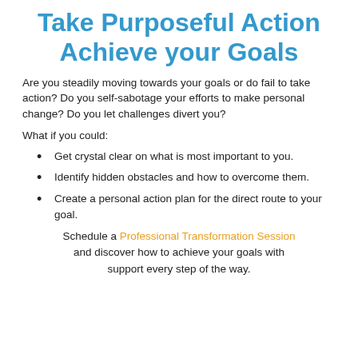Take Purposeful Action Achieve your Goals
Are you steadily moving towards your goals or do fail to take action? Do you self-sabotage your efforts to make personal change? Do you let challenges divert you?
What if you could:
Get crystal clear on what is most important to you.
Identify hidden obstacles and how to overcome them.
Create a personal action plan for the direct route to your goal.
Schedule a Professional Transformation Session and discover how to achieve your goals with support every step of the way.